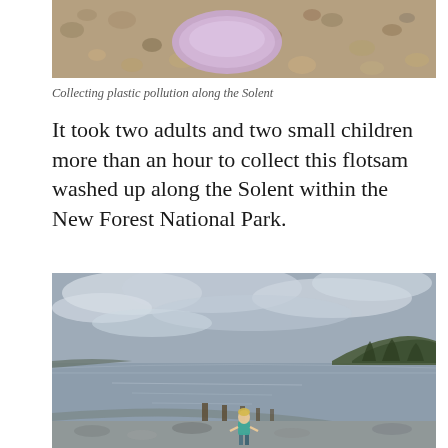[Figure (photo): Top portion of a photo showing plastic pollution collected on a pebble beach along the Solent, with a purple/lilac plastic item visible among stones.]
Collecting plastic pollution along the Solent
It took two adults and two small children more than an hour to collect this flotsam washed up along the Solent within the New Forest National Park.
[Figure (photo): A coastal scene along the Solent within the New Forest National Park showing calm grey water, overcast sky with clouds, wooded headland on the right, and a small blonde child standing on the pebbly shoreline in the foreground.]